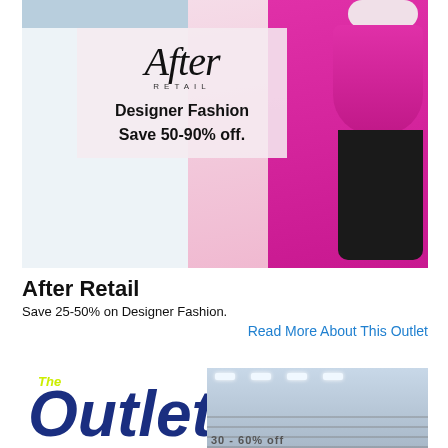[Figure (photo): After Retail fashion advertisement showing a woman in pink/magenta outfit with 'After Retail' script logo and text overlay reading 'Designer Fashion Save 50-90% off.']
After Retail
Save 25-50% on Designer Fashion.
Read More About This Outlet
[Figure (photo): The Outlet logo with warehouse interior photo showing shelving and industrial lighting, with text '30-60% off']